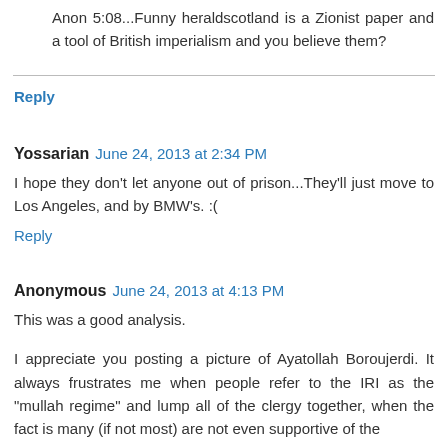Anon 5:08...Funny heraldscotland is a Zionist paper and a tool of British imperialism and you believe them?
Reply
Yossarian  June 24, 2013 at 2:34 PM
I hope they don't let anyone out of prison...They'll just move to Los Angeles, and by BMW's. :(
Reply
Anonymous  June 24, 2013 at 4:13 PM
This was a good analysis.
I appreciate you posting a picture of Ayatollah Boroujerdi. It always frustrates me when people refer to the IRI as the "mullah regime" and lump all of the clergy together, when the fact is many (if not most) are not even supportive of the